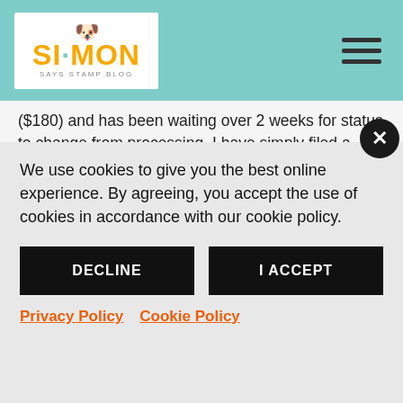Simon Says Stamp Blog
($180) and has been waiting over 2 weeks for status to change from processing. I have simply filed a dispute with PayPal and am requesting a full refund.

This was my first order and needless to say I will not be ordering again.
We use cookies to give you the best online experience. By agreeing, you accept the use of cookies in accordance with our cookie policy.
DECLINE
I ACCEPT
Privacy Policy   Cookie Policy
something, and can't wait to get it…but I haven't